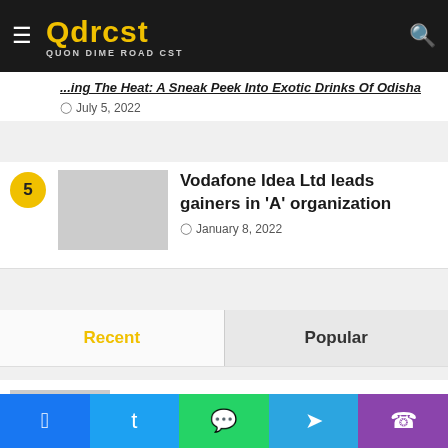Qdrcst - QUON DIME ROAD CST
...ing The Heat: A Sneak Peek Into Exotic Drinks Of Odisha
July 5, 2022
Vodafone Idea Ltd leads gainers in 'A' organization
January 8, 2022
Recent
Popular
Stock selections of the day: 'Expect consolidation earlier than next leg of rally'
37 mins ago